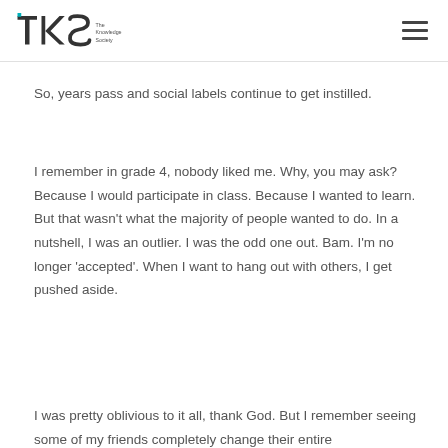TKS The Knowledge Society
So, years pass and social labels continue to get instilled.
I remember in grade 4, nobody liked me. Why, you may ask? Because I would participate in class. Because I wanted to learn. But that wasn't what the majority of people wanted to do. In a nutshell, I was an outlier. I was the odd one out. Bam. I'm no longer 'accepted'. When I want to hang out with others, I get pushed aside.
I was pretty oblivious to it all, thank God. But I remember seeing some of my friends completely change their entire